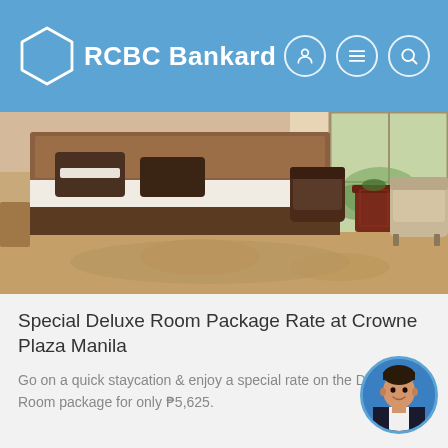RCBC Bankard
[Figure (photo): Hotel deluxe room interior with king bed, brown pillows, leather armchairs, side table, and large windows at Crowne Plaza Manila]
Special Deluxe Room Package Rate at Crowne Plaza Manila
Go on a quick staycation & enjoy a special rate on the Deluxe Room package for only ₱5,625.